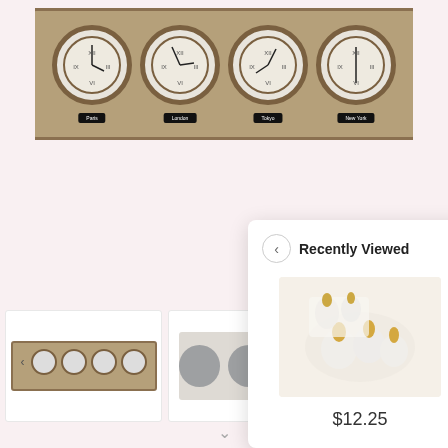[Figure (photo): A wooden frame containing four analog wall clocks with Roman numeral faces and black labels below each clock]
[Figure (photo): Thumbnail of the four-clock wall display, smaller version]
[Figure (photo): Thumbnail of grey circles on a light tray]
[Figure (photo): Thumbnail of a wooden panel with a label]
Recently Viewed
[Figure (photo): Recently viewed product: white ceramic items with gold accents on white background]
$12.25